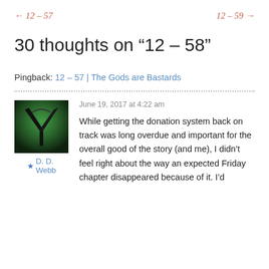← 12 – 57    12 – 59 →
30 thoughts on “12 – 58”
Pingback: 12 – 57 | The Gods are Bastards
[Figure (illustration): Green and black avatar/logo icon — stylized dark letter V shape on green background]
★ D. D. Webb
June 19, 2017 at 4:22 am
While getting the donation system back on track was long overdue and important for the overall good of the story (and me), I didn't feel right about the way an expected Friday chapter disappeared because of it. I'd